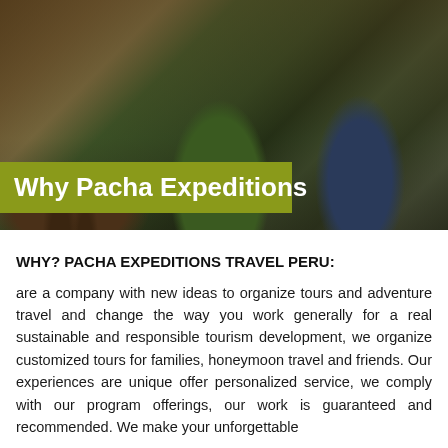[Figure (photo): Outdoor photo showing people and a horse in a rocky mountain landscape, with people wearing green and blue/gray jackets]
Why Pacha Expeditions
WHY? PACHA EXPEDITIONS TRAVEL PERU:
are a company with new ideas to organize tours and adventure travel and change the way you work generally for a real sustainable and responsible tourism development, we organize customized tours for families, honeymoon travel and friends. Our experiences are unique offer personalized service, we comply with our program offerings, our work is guaranteed and recommended. We make your unforgettable